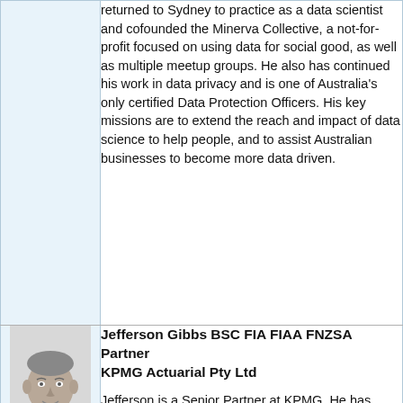returned to Sydney to practice as a data scientist and cofounded the Minerva Collective, a not-for-profit focused on using data for social good, as well as multiple meetup groups. He also has continued his work in data privacy and is one of Australia's only certified Data Protection Officers. His key missions are to extend the reach and impact of data science to help people, and to assist Australian businesses to become more data driven.
[Figure (photo): Black and white headshot photo of Jefferson Gibbs, a middle-aged man in a suit and tie, smiling.]
Jefferson Gibbs BSC FIA FIAA FNZSA
Partner
KPMG Actuarial Pty Ltd

Jefferson is a Senior Partner at KPMG. He has more than 25 years' broad actuarial consulting experience